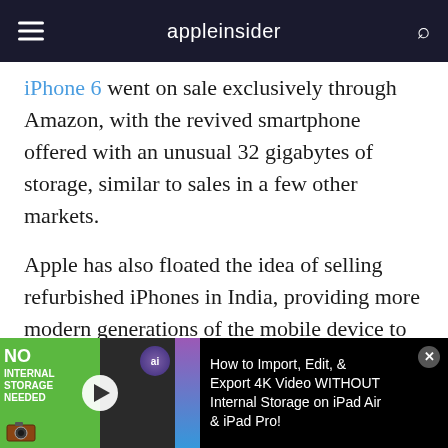appleinsider
iPhone 6 went on sale exclusively through Amazon, with the revived smartphone offered with an unusual 32 gigabytes of storage, similar to sales in a few other markets.
Apple has also floated the idea of selling refurbished iPhones in India, providing more modern generations of the mobile device to the population at a low cost, to try and combat the high sales of cheap Android smartphones. So far,
[Figure (screenshot): Video banner ad showing 'No Internal Storage Needed' thumbnail on left with play button, ai badge, and text 'How to Import, Edit, & Export 4K Video WITHOUT Internal Storage on iPad Air & iPad Pro!' on right against black background]